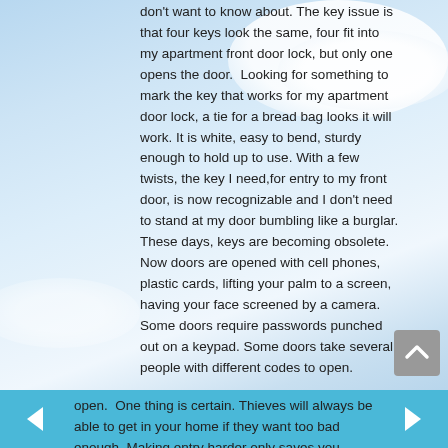don't want to know about. The key issue is that four keys look the same, four fit into my apartment front door lock, but only one opens the door.  Looking for something to mark the key that works for my apartment door lock, a tie for a bread bag looks it will work. It is white, easy to bend, sturdy enough to hold up to use. With a few twists, the key I need,for entry to my front door, is now recognizable and I don't need to stand at my door bumbling like a burglar. These days, keys are becoming obsolete. Now doors are opened with cell phones, plastic cards, lifting your palm to a screen, having your face screened by a camera. Some doors require passwords punched out on a keypad. Some doors take several people with different codes to open.  One thing is certain. Thieves will always be able to get in your home if they want too bad enough. Making entry harder only saves you